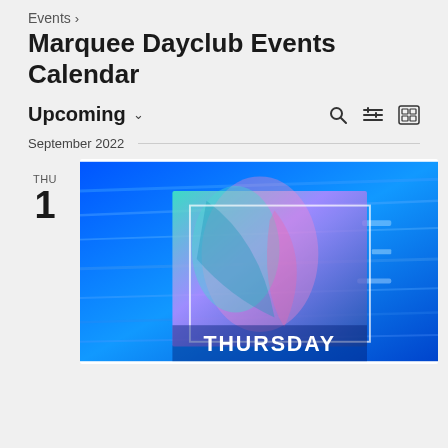Events >
Marquee Dayclub Events Calendar
Upcoming ˅
September 2022
THU
1
[Figure (photo): Event promotional image with blue neon abstract background and text 'THURSDAY' at bottom in white bold letters, with a translucent rectangular overlay framing an abstract holographic figure in teal and pink tones.]